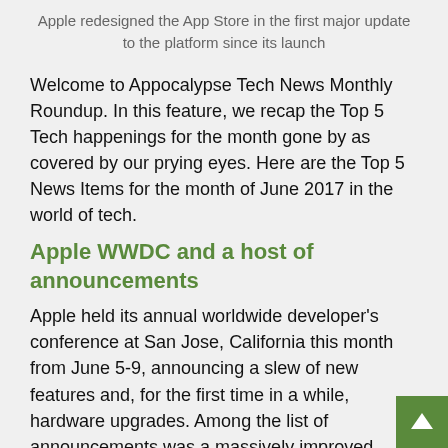Apple redesigned the App Store in the first major update to the platform since its launch
Welcome to Appocalypse Tech News Monthly Roundup. In this feature, we recap the Top 5 Tech happenings for the month gone by as covered by our prying eyes. Here are the Top 5 News Items for the month of June 2017 in the world of tech.
Apple WWDC and a host of announcements
Apple held its annual worldwide developer's conference at San Jose, California this month from June 5-9, announcing a slew of new features and, for the first time in a while, hardware upgrades. Among the list of announcements was a massively improved version of iOS titled (unsurprisingly) iOS 11, along with upgrades to watchOS, tvOS, and